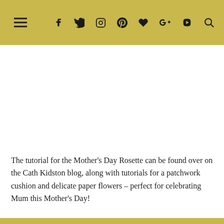☰ f t ☐ ⊕ ♥ g+ ▶ 🔍
[Figure (photo): Large white/blank image area below the header navigation bar]
The tutorial for the Mother's Day Rosette can be found over on the Cath Kidston blog, along with tutorials for a patchwork cushion and delicate paper flowers – perfect for celebrating Mum this Mother's Day!